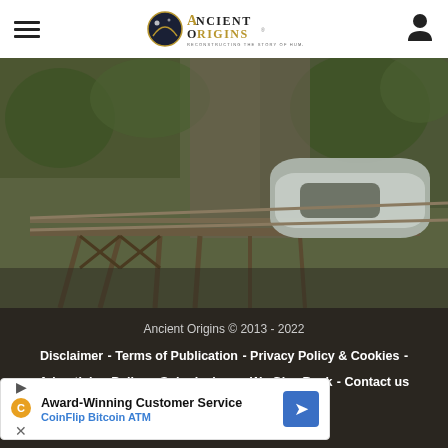Ancient Origins — Reconstructing the Story of Humanity's Past
[Figure (photo): A cable car or funicular vehicle on a hillside metal trestle track, surrounded by green rocky cliffs and dense vegetation. The vehicle has a curved silver/grey roof.]
Ancient Origins © 2013 - 2022
Disclaimer - Terms of Publication - Privacy Policy & Cookies - Advertising Policy - Submissions - We Give Back - Contact us
A project of Stella Novus
[Figure (other): Advertisement banner: Award-Winning Customer Service — CoinFlip Bitcoin ATM]